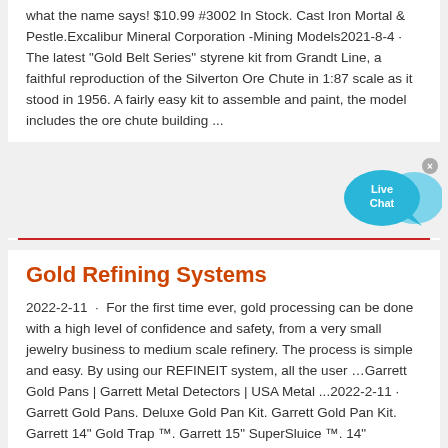what the name says! $10.99 #3002 In Stock. Cast Iron Mortal & Pestle.Excalibur Mineral Corporation -Mining Models2021-8-4 · The latest "Gold Belt Series" styrene kit from Grandt Line, a faithful reproduction of the Silverton Ore Chute in 1:87 scale as it stood in 1956. A fairly easy kit to assemble and paint, the model includes the ore chute building ...
[Figure (other): Live Chat speech bubble icon in blue with close button]
Gold Refining Systems
2022-2-11 · For the first time ever, gold processing can be done with a high level of confidence and safety, from a very small jewelry business to medium scale refinery. The process is simple and easy. By using our REFINEIT system, all the user …Garrett Gold Pans | Garrett Metal Detectors | USA Metal ...2022-2-11 · Garrett Gold Pans. Deluxe Gold Pan Kit. Garrett Gold Pan Kit. Garrett 14" Gold Trap ™. Garrett 15" SuperSluice ™. 14" Prospector. Garrett …